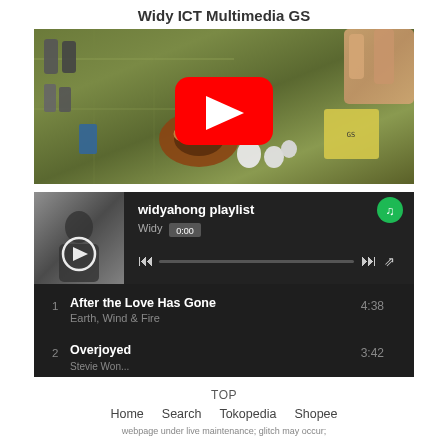Widy ICT Multimedia GS
[Figure (screenshot): YouTube video thumbnail showing a PCB circuit board with electronic components, featuring a red YouTube play button overlay]
[Figure (screenshot): Spotify playlist player showing 'widyahong playlist' by Widy with controls and track listing. Track 1: After the Love Has Gone by Earth, Wind & Fire, 4:38. Track 2: Overjoyed, 3:42]
TOP
Home
Search
Tokopedia
Shopee
webpage under live maintenance; glitch may occur;